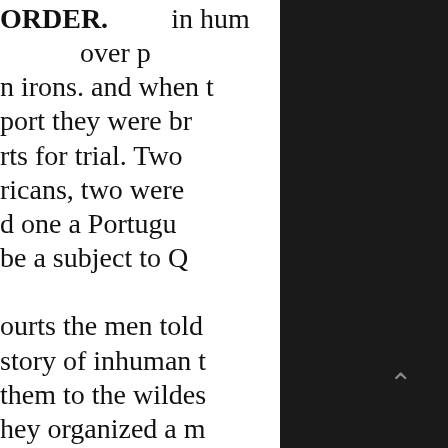ORDER. in hum over p n irons. and when t port they were br rts for trial. Two ricans, two were d one a Portugu be a subject to Q ourts the men told story of inhuman t them to the wildes hey organized a m to get control of swore that in th occurred it was a o have located the r of the English go